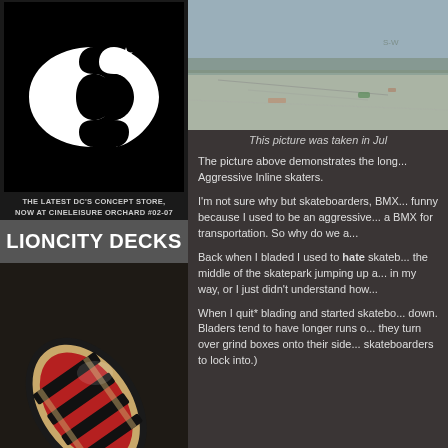[Figure (logo): DC Shoes brand logo (two interlocking C shapes with a star) on black background]
THE LATEST DC'S CONCEPT STORE, NOW AT CINELEISURE ORCHARD #02-07
LIONCITY DECKS
[Figure (photo): A skateboard deck with red and black graphics, viewed at an angle showing the bottom of the board]
[Figure (photo): A blurry outdoor photo of a skatepark or ground surface taken in July]
This picture was taken in Jul
The picture above demonstrates the long... Aggressive Inline skaters.
I'm not sure why but skateboarders, BMX... funny because I used to be an aggressive... a BMX for transportation. So why do we a...
Back when I bladed I used to hate skateb... the middle of the skatepark jumping up a... in my way, or I just didn't understand how...
When I quit* blading and started skatebo... down. Bladers tend to have longer runs o... they turn over grind boxes onto their side... skateboarders to lock into.)